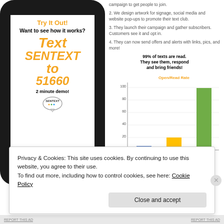[Figure (photo): Smartphone showing 'Try It Out! Want to see how it works? Text SENTEXT to 51660 – 2 minute demo!' with Sentext logo on screen, inside a dark phone frame.]
campaign to get people to join.
2. We design artwork for signage, social media and website pop-ups to promote their text club.
3. They launch their campaign and gather subscribers. Customers see it and opt in.
4. They can now send offers and alerts with links, pics, and more!
99% of texts are read. They see them, respond and bring friends!
[Figure (bar-chart): Open/Read Rate]
Privacy & Cookies: This site uses cookies. By continuing to use this website, you agree to their use.
To find out more, including how to control cookies, see here: Cookie Policy
Close and accept